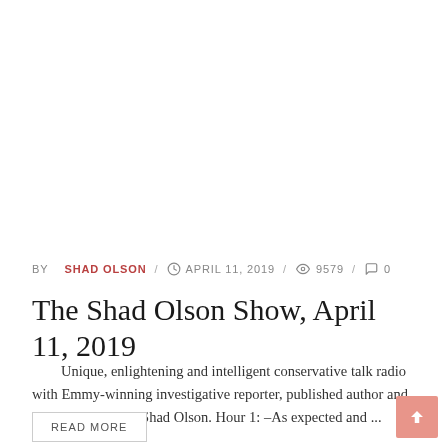BY SHAD OLSON / APRIL 11, 2019 / 9579 / 0
The Shad Olson Show, April 11, 2019
Unique, enlightening and intelligent conservative talk radio with Emmy-winning investigative reporter, published author and broadcast veteran, Shad Olson. Hour 1: –As expected and ...